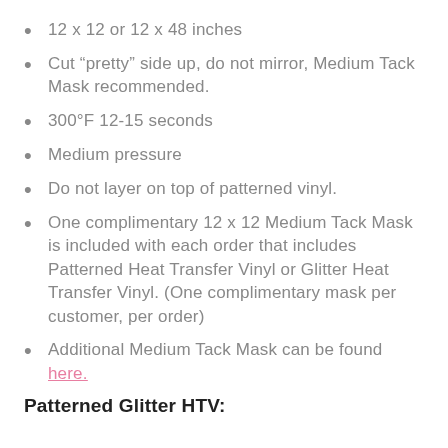12 x 12 or 12 x 48 inches
Cut “pretty” side up, do not mirror, Medium Tack Mask recommended.
300°F 12-15 seconds
Medium pressure
Do not layer on top of patterned vinyl.
One complimentary 12 x 12 Medium Tack Mask is included with each order that includes Patterned Heat Transfer Vinyl or Glitter Heat Transfer Vinyl. (One complimentary mask per customer, per order)
Additional Medium Tack Mask can be found here.
Patterned Glitter HTV: